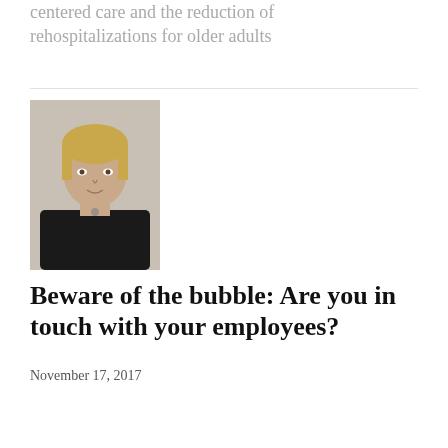centered care and the reduction of rehospitalizations for older adults
[Figure (photo): Portrait photo of a woman with short blonde hair wearing a dark jacket]
Beware of the bubble: Are you in touch with your employees?
November 17, 2017
Your employees talk about you. They talk to their colleagues, friends and family about your leadership and what it's like to work in your organization.
[Figure (photo): Partial photo of a person, cropped at bottom of page]